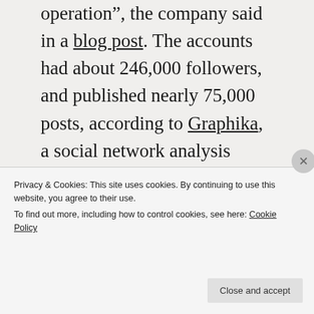operation", the company said in a blog post. The accounts had about 246,000 followers, and published nearly 75,000 posts, according to Graphika, a social network analysis company that reviewed the campaign for Facebook.
[Figure (illustration): Advertisement for Day One journaling app on a blue background, showing a grey t-shirt graphic at the top, text 'DAY ONE' in spaced capitals, and tagline 'The only journaling app you'll ever need.']
Privacy & Cookies: This site uses cookies. By continuing to use this website, you agree to their use.
To find out more, including how to control cookies, see here: Cookie Policy